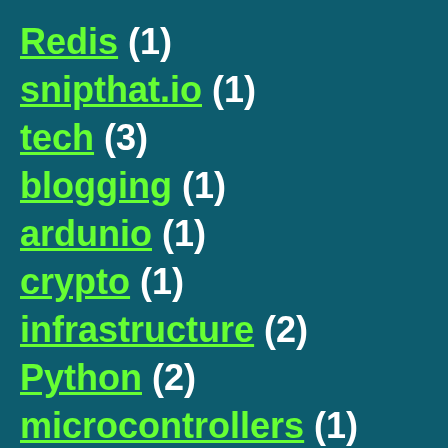Redis (1)
snipthat.io (1)
tech (3)
blogging (1)
ardunio (1)
crypto (1)
infrastructure (2)
Python (2)
microcontrollers (1)